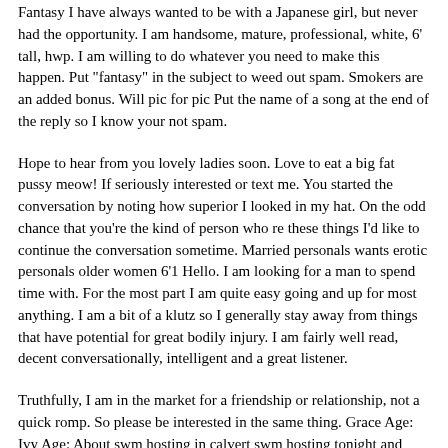Fantasy I have always wanted to be with a Japanese girl, but never had the opportunity. I am handsome, mature, professional, white, 6' tall, hwp. I am willing to do whatever you need to make this happen. Put "fantasy" in the subject to weed out spam. Smokers are an added bonus. Will pic for pic Put the name of a song at the end of the reply so I know your not spam.
Hope to hear from you lovely ladies soon. Love to eat a big fat pussy meow! If seriously interested or text me. You started the conversation by noting how superior I looked in my hat. On the odd chance that you're the kind of person who re these things I'd like to continue the conversation sometime. Married personals wants erotic personals older women 6'1 Hello. I am looking for a man to spend time with. For the most part I am quite easy going and up for most anything. I am a bit of a klutz so I generally stay away from things that have potential for great bodily injury. I am fairly well read, decent conversationally, intelligent and a great listener.
Truthfully, I am in the market for a friendship or relationship, not a quick romp. So please be interested in the same thing. Grace Age: Ivy Age: About swm hosting in calvert swm hosting tonight and tommorrow for oral, jo play.